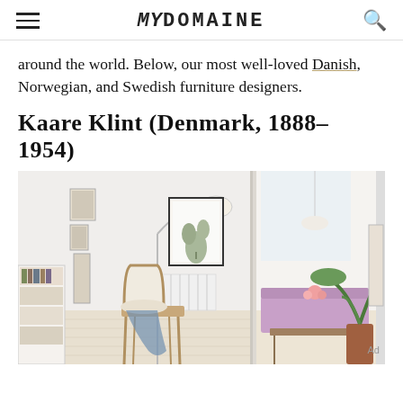MYDOMAINE
around the world. Below, our most well-loved Danish, Norwegian, and Swedish furniture designers.
Kaare Klint (Denmark, 1888–1954)
[Figure (photo): Interior room scene showing a Scandinavian-style living space with a wooden armchair with white cushion and blue throw, a bookshelf, arc floor lamp, framed botanical artwork on wall, radiator, and an adjacent room visible through a doorway with purple sofa and tropical plants.]
Ad